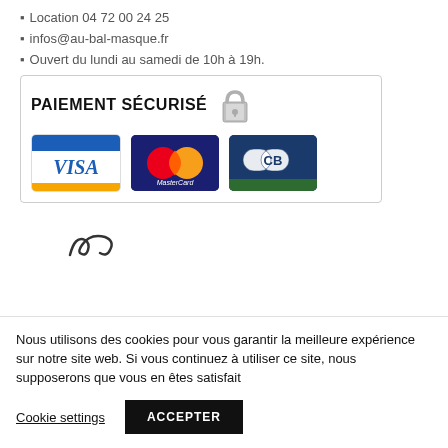Location 04 72 00 24 25
infos@au-bal-masque.fr
Ouvert du lundi au samedi de 10h à 19h.
[Figure (infographic): Paiement Sécurisé banner with padlock icon and three payment card logos: VISA, MasterCard, CB]
[Figure (illustration): Partial logo/illustration at bottom of main content area]
Nous utilisons des cookies pour vous garantir la meilleure expérience sur notre site web. Si vous continuez à utiliser ce site, nous supposerons que vous en êtes satisfait
Cookie settings   ACCEPTER